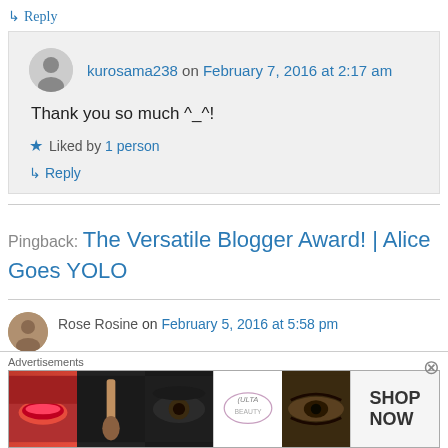↳ Reply
kurosama238 on February 7, 2016 at 2:17 am
Thank you so much ^_^!
★ Liked by 1 person
↳ Reply
Pingback: The Versatile Blogger Award! | Alice Goes YOLO
Rose Rosine on February 5, 2016 at 5:58 pm
[Figure (infographic): ULTA beauty advertisement banner with makeup imagery and SHOP NOW call to action]